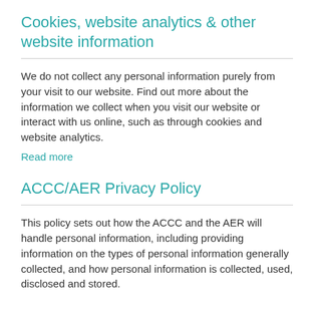Cookies, website analytics & other website information
We do not collect any personal information purely from your visit to our website. Find out more about the information we collect when you visit our website or interact with us online, such as through cookies and website analytics.
Read more
ACCC/AER Privacy Policy
This policy sets out how the ACCC and the AER will handle personal information, including providing information on the types of personal information generally collected, and how personal information is collected, used, disclosed and stored.